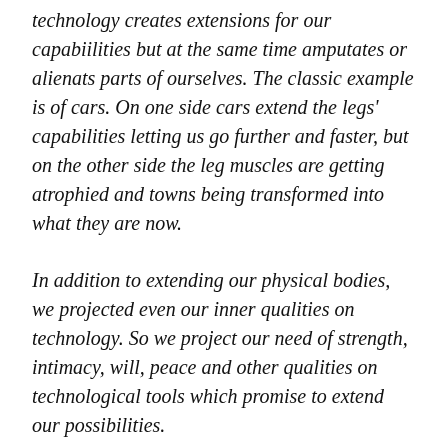technology creates extensions for our capabiilities but at the same time amputates or alienats parts of ourselves. The classic example is of cars. On one side cars extend the legs' capabilities letting us go further and faster, but on the other side the leg muscles are getting atrophied and towns being transformed into what they are now.
In addition to extending our physical bodies, we projected even our inner qualities on technology. So we project our need of strength, intimacy, will, peace and other qualities on technological tools which promise to extend our possibilities.
[/en][it]